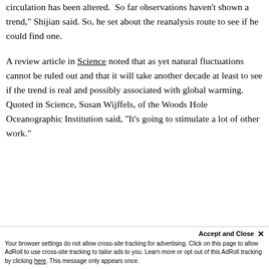circulation has been altered. So far observations haven't shown a trend," Shijian said. So, he set about the reanalysis route to see if he could find one.
A review article in Science noted that as yet natural fluctuations cannot be ruled out and that it will take another decade at least to see if the trend is real and possibly associated with global warming. Quoted in Science, Susan Wijffels, of the Woods Hole Oceanographic Institution said, "It's going to stimulate a lot of other work."
Accept and Close ✕
Your browser settings do not allow cross-site tracking for advertising. Click on this page to allow AdRoll to use cross-site tracking to tailor ads to you. Learn more or opt out of this AdRoll tracking by clicking here. This message only appears once.